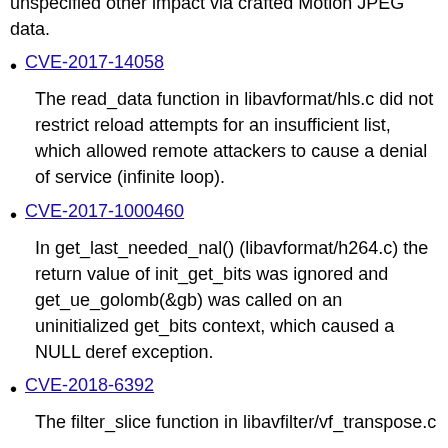unspecified other impact via crafted Motion JPEG data.
CVE-2017-14058
The read_data function in libavformat/hls.c did not restrict reload attempts for an insufficient list, which allowed remote attackers to cause a denial of service (infinite loop).
CVE-2017-1000460
In get_last_needed_nal() (libavformat/h264.c) the return value of init_get_bits was ignored and get_ue_golomb(&gb) was called on an uninitialized get_bits context, which caused a NULL deref exception.
CVE-2018-6392
The filter_slice function in libavfilter/vf_transpose.c